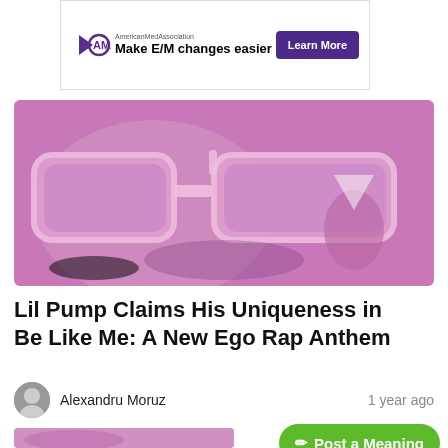[Figure (screenshot): Advertisement banner for American Medical Association: 'Make E/M changes easier' with a purple 'Learn More' button]
[Figure (photo): Close-up photo of a person wearing large pink/purple sunglasses with a purple color overlay]
Lil Pump Claims His Uniqueness in Be Like Me: A New Ego Rap Anthem
Alexandru Moruz    1 year ago
[Figure (photo): Partial photo at bottom of page with a green 'Post a Meaning' button overlay]